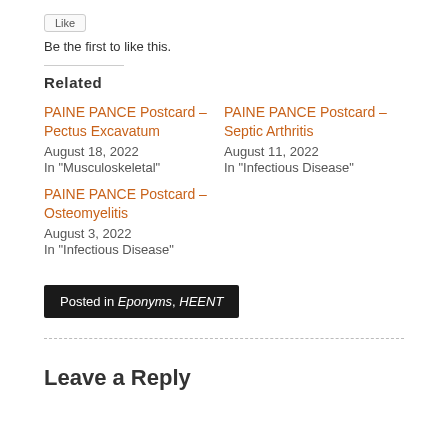[Figure (other): Like button widget (small button with like icon)]
Be the first to like this.
Related
PAINE PANCE Postcard – Pectus Excavatum
August 18, 2022
In "Musculoskeletal"
PAINE PANCE Postcard – Septic Arthritis
August 11, 2022
In "Infectious Disease"
PAINE PANCE Postcard – Osteomyelitis
August 3, 2022
In "Infectious Disease"
Posted in Eponyms, HEENT
Leave a Reply